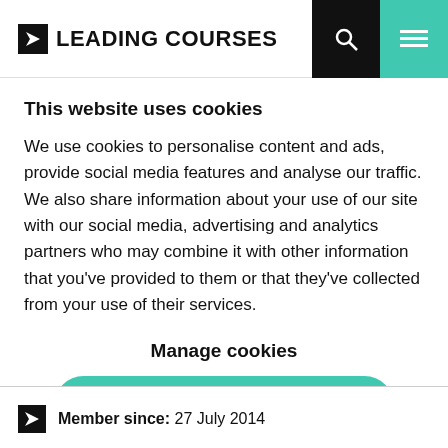[Figure (logo): Leading Courses logo with arrow icon, search and menu icons in header]
This website uses cookies
We use cookies to personalise content and ads, provide social media features and analyse our traffic. We also share information about your use of our site with our social media, advertising and analytics partners who may combine it with other information that you've provided to them or that they've collected from your use of their services.
Manage cookies
Allow all cookies
Member since:  27 July 2014